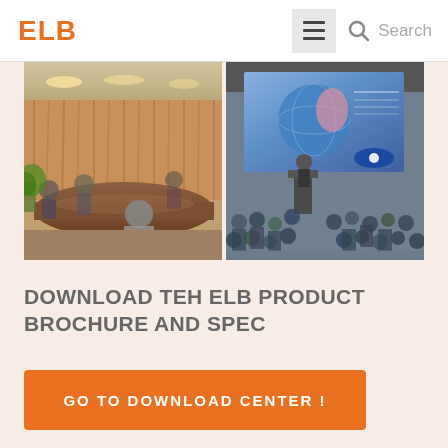ELB
[Figure (photo): Two side-by-side conference/seminar photos: left shows a conference room with people seated around a large table, right shows a presenter at a podium with an audience and a large screen display behind them.]
DOWNLOAD TEH ELB PRODUCT BROCHURE AND SPEC
GO TO DOWNLOAD CENTER !